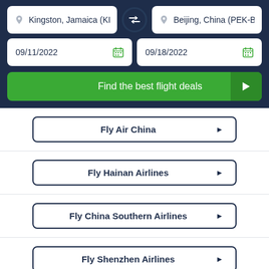Kingston, Jamaica (KIN-N...
Beijing, China (PEK-Beij
09/11/2022
09/18/2022
Find the best flight deals
Fly Air China
Fly Hainan Airlines
Fly China Southern Airlines
Fly Shenzhen Airlines
Fly China Eastern Airlines